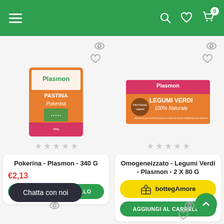Plasmon shopping app header with hamburger menu, search, heart, and cart icons
[Figure (screenshot): Plasmon Pastina Pokerina 340G product image - orange packaging]
[Figure (screenshot): Plasmon Omogeneizzato Legumi Verdi 2x80G product image - orange packaging]
Pokerina - Plasmon - 340 G
€2,13
AGGIUNGI AL CARRELLO
Chatta con noi
Omogeneizzato - Legumi Verdi - Plasmon - 2 X 80 G
bottegAmore
AGGIUNGI AL CARRELLO